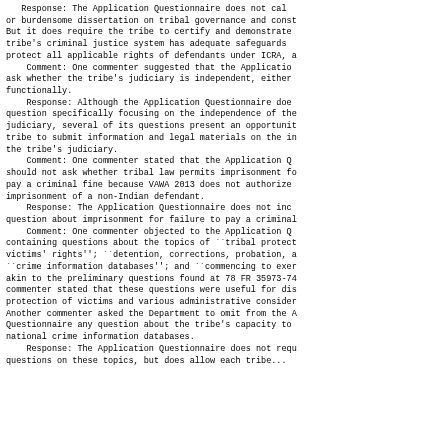Response: The Application Questionnaire does not call for a lengthy or burdensome dissertation on tribal governance and constitution. But it does require the tribe to certify and demonstrate that the tribe's criminal justice system has adequate safeguards in place to protect all applicable rights of defendants under ICRA, and...
Comment: One commenter suggested that the Application Questionnaire ask whether the tribe's judiciary is independent, either structurally or functionally.
Response: Although the Application Questionnaire does not include a question specifically focusing on the independence of the tribe's judiciary, several of its questions present an opportunity for the tribe to submit information and legal materials on the independence of the tribe's judiciary.
Comment: One commenter stated that the Application Questionnaire should not ask whether tribal law permits imprisonment for failure to pay a criminal fine because VAWA 2013 does not authorize imprisonment of a non-Indian defendant.
Response: The Application Questionnaire does not include a question about imprisonment for failure to pay a criminal fine.
Comment: One commenter objected to the Application Questionnaire containing questions about the topics of ``tribal protection of victims' rights''; ``detention, corrections, probation, and parole''; ``crime information databases''; and ``commencing to exercise SDVCJ,'' akin to the preliminary questions found at 78 FR 35973-74. One commenter stated that these questions were useful for discussing the protection of victims and various administrative considerations. Another commenter asked the Department to omit from the Application Questionnaire any question about the tribe's capacity to access national crime information databases.
Response: The Application Questionnaire does not require questions on these topics, but does allow each tribe...